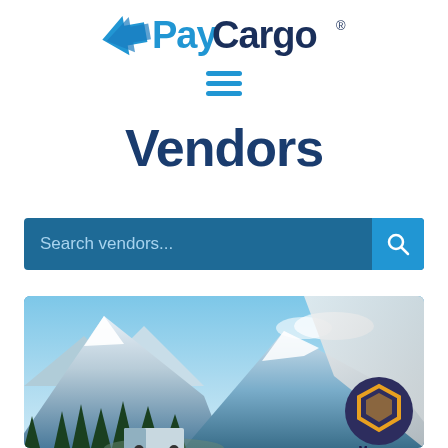[Figure (logo): PayCargo logo with blue arrow and text, hamburger menu icon below]
Vendors
[Figure (screenshot): Search bar with 'Search vendors...' placeholder text and a blue search button with magnifying glass icon]
[Figure (photo): Mountain landscape with snow-capped peaks, pine trees, and a truck on road. Overlaid with orange 'VENDORS' badge and a 'Manage' logo in bottom-right corner.]